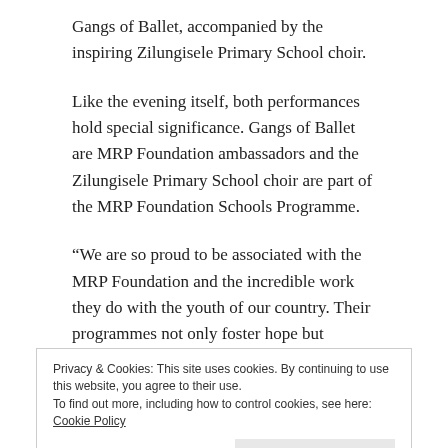Gangs of Ballet, accompanied by the inspiring Zilungisele Primary School choir.
Like the evening itself, both performances hold special significance. Gangs of Ballet are MRP Foundation ambassadors and the Zilungisele Primary School choir are part of the MRP Foundation Schools Programme.
“We are so proud to be associated with the MRP Foundation and the incredible work they do with the youth of our country. Their programmes not only foster hope but develop skills for success.” said Josh Klynsmith.
Privacy & Cookies: This site uses cookies. By continuing to use this website, you agree to their use.
To find out more, including how to control cookies, see here: Cookie Policy
Close and accept
Foundation Schools Programme has been implemented